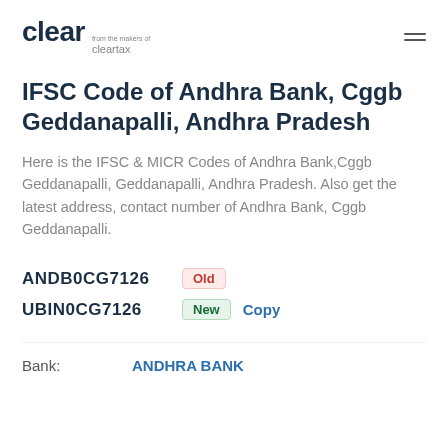clear from the makers of cleartax
IFSC Code of Andhra Bank, Cggb Geddanapalli, Andhra Pradesh
Here is the IFSC & MICR Codes of Andhra Bank,Cggb Geddanapalli, Geddanapalli, Andhra Pradesh. Also get the latest address, contact number of Andhra Bank, Cggb Geddanapalli.
ANDB0CG7126 Old
UBIN0CG7126 New Copy
Bank: ANDHRA BANK